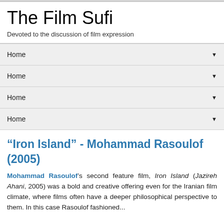The Film Sufi
Devoted to the discussion of film expression
Home ▼
Home ▼
Home ▼
Home ▼
“Iron Island” - Mohammad Rasoulof (2005)
Mohammad Rasoulof’s second feature film, Iron Island (Jazireh Ahani, 2005) was a bold and creative offering even for the Iranian film climate, where films often have a deeper philosophical perspective to them. In this case Rasoulof fashioned...